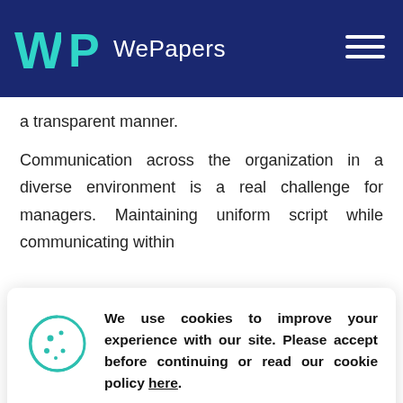WePapers
a transparent manner.
Communication across the organization in a diverse environment is a real challenge for managers. Maintaining uniform script while communicating within
[Figure (other): Cookie consent dialog with cookie icon, text about cookies policy, and Accept button]
discussions giving proper due to all sections to promote active participation of members from different groups. Also, feedback from members of all